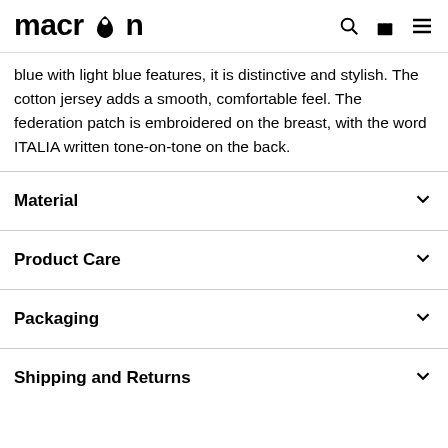macron [logo with search, bag, menu icons]
blue with light blue features, it is distinctive and stylish. The cotton jersey adds a smooth, comfortable feel. The federation patch is embroidered on the breast, with the word ITALIA written tone-on-tone on the back.
Material
Product Care
Packaging
Shipping and Returns